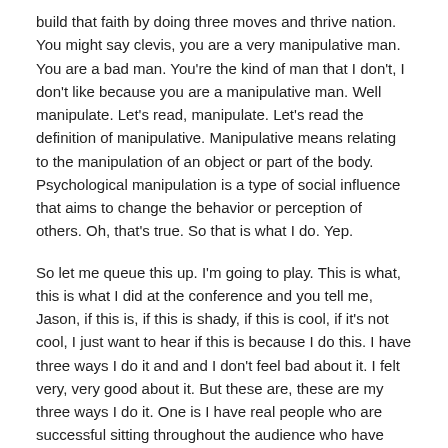build that faith by doing three moves and thrive nation. You might say clevis, you are a very manipulative man. You are a bad man. You're the kind of man that I don't, I don't like because you are a manipulative man. Well manipulate. Let's read, manipulate. Let's read the definition of manipulative. Manipulative means relating to the manipulation of an object or part of the body. Psychological manipulation is a type of social influence that aims to change the behavior or perception of others. Oh, that's true. So that is what I do. Yep.
So let me queue this up. I'm going to play. This is what, this is what I did at the conference and you tell me, Jason, if this is, if this is shady, if this is cool, if it's not cool, I just want to hear if this is because I do this. I have three ways I do it and and I don't feel bad about it. I felt very, very good about it. But these are, these are my three ways I do it. One is I have real people who are successful sitting throughout the audience who have actually achieved success, who are current clients and I don't pay them. I just say, Hey, there's somebody in the audience that's going to be there at this conference who's not doing well just like you.